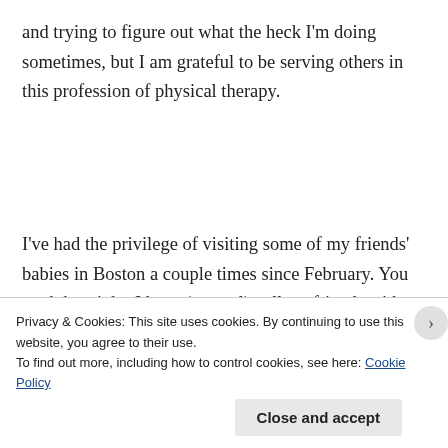and trying to figure out what the heck I'm doing sometimes, but I am grateful to be serving others in this profession of physical therapy.
I've had the privilege of visiting some of my friends' babies in Boston a couple times since February. You read that right. I have (several) college friends with babies now. I don't think there was a time for me to process that this the
Privacy & Cookies: This site uses cookies. By continuing to use this website, you agree to their use.
To find out more, including how to control cookies, see here: Cookie Policy
Close and accept